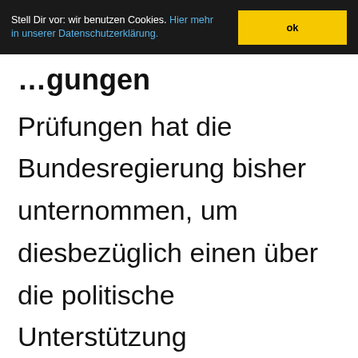Stell Dir vor: wir benutzen Cookies. Hier mehr in unserer Datenschutzerklärung. ok
…gungen Prüfungen hat die Bundesregierung bisher unternommen, um diesbezüglich einen über die politische Unterstützung hinausgehenden Beistand Frankreichs zu ermöglichen?
Die Bundesregierung unterstützt EMASoH und TAKUBA politisch und